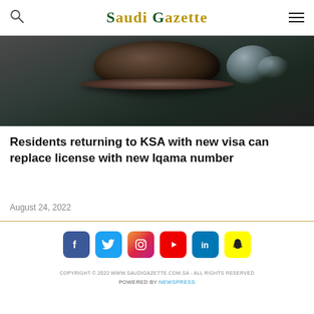Saudi Gazette
[Figure (photo): Close-up photo of a dark bowl or vessel with reflective surface, on a dark background with some light reflections]
Residents returning to KSA with new visa can replace license with new Iqama number
August 24, 2022
COPYRIGHT © 2022 WWW.SAUDIGAZETTE.COM.SA - ALL RIGHTS RESERVED
POWERED BY NEWSPRESS